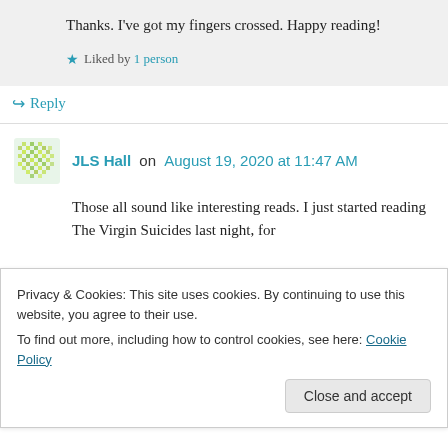Thanks. I've got my fingers crossed. Happy reading!
Liked by 1 person
Reply
JLS Hall on August 19, 2020 at 11:47 AM
Those all sound like interesting reads. I just started reading The Virgin Suicides last night, for
Privacy & Cookies: This site uses cookies. By continuing to use this website, you agree to their use. To find out more, including how to control cookies, see here: Cookie Policy
Close and accept
Wednesdays 19 August 2020/...